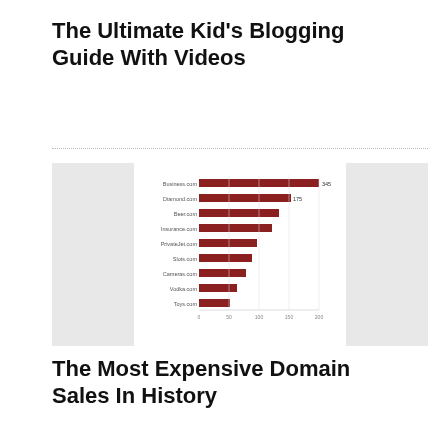The Ultimate Kid's Blogging Guide With Videos
[Figure (bar-chart): Horizontal bar chart showing most expensive domain name sales, with dark red bars. Multiple rows with domain names on y-axis and values on x-axis.]
The Most Expensive Domain Sales In History
[Figure (photo): Photo of a laptop keyboard with a blue circle overlay containing text 'How to Start a Teacher Blog']